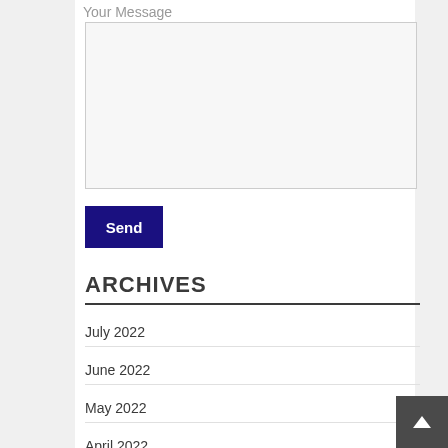Your Message
[Figure (other): Empty textarea input box for message]
Send
ARCHIVES
July 2022
June 2022
May 2022
April 2022